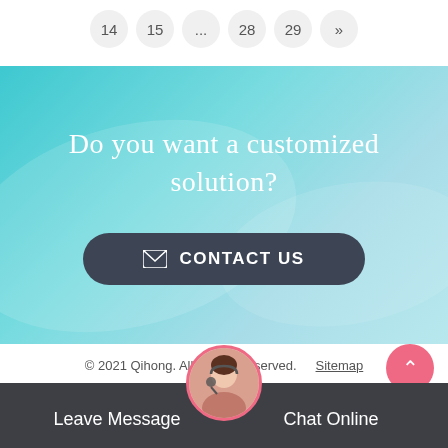14  15  ...  28  29  »
Do you want a customized solution?
CONTACT US
© 2021 Qihong. All Rights Reserved.   Sitemap
Leave Message
Chat Online